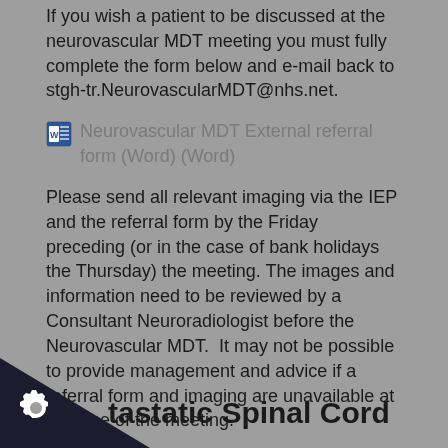If you wish a patient to be discussed at the neurovascular MDT meeting you must fully complete the form below and e-mail back to stgh-tr.NeurovascularMDT@nhs.net.
Neurovascular MDT External referral form (Word) (Word)
Please send all relevant imaging via the IEP and the referral form by the Friday preceding (or in the case of bank holidays the Thursday) the meeting. The images and information need to be reviewed by a Consultant Neuroradiologist before the Neurovascular MDT.  It may not be possible to provide management and advice if a referral form and imaging are unavailable at the time of the meeting.
The Neurovascular CNS is available during working hours on 0208 672 1255 bleep 7711.
tastatic Spinal Cord